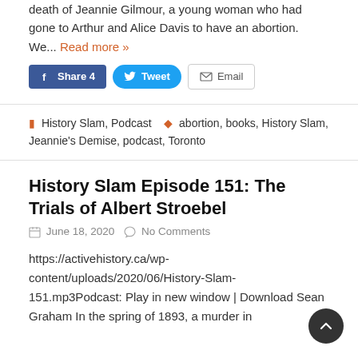death of Jeannie Gilmour, a young woman who had gone to Arthur and Alice Davis to have an abortion. We... Read more »
Share 4  Tweet  Email
History Slam, Podcast   abortion, books, History Slam, Jeannie's Demise, podcast, Toronto
History Slam Episode 151: The Trials of Albert Stroebel
June 18, 2020   No Comments
https://activehistory.ca/wp-content/uploads/2020/06/History-Slam-151.mp3Podcast: Play in new window | Download Sean Graham In the spring of 1893, a murder in